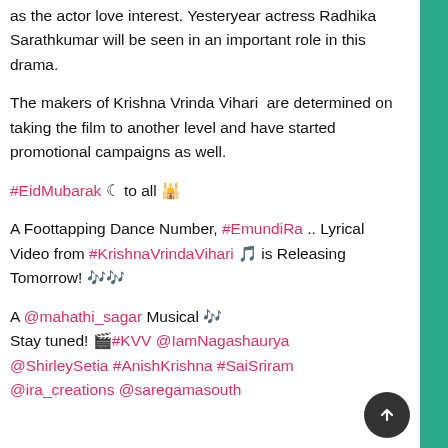as the actor love interest. Yesteryear actress Radhika Sarathkumar will be seen in an important role in this drama.
The makers of Krishna Vrinda Vihari  are determined on taking the film to another level and have started promotional campaigns as well.
#EidMubarak ☾ to all 🕌
A Foottapping Dance Number, #EmundiRa .. Lyrical Video from #KrishnaVrindaVihari 🎵 is Releasing Tomorrow! 🎶🎶
A @mahathi_sagar Musical 🎶 Stay tuned! 🎬#KVV @IamNagashaurya @ShirleySetia #AnishKrishna #SaiSriram @ira_creations @saregamasouth